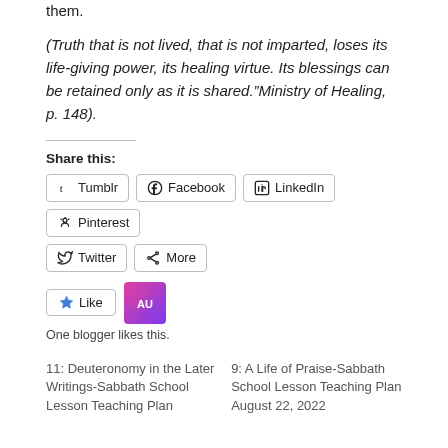them.
(Truth that is not lived, that is not imparted, loses its life-giving power, its healing virtue. Its blessings can be retained only as it is shared.“Ministry of Healing, p. 148).
Share this:
Tumblr  Facebook  LinkedIn  Pinterest  Twitter  More
Like  One blogger likes this.
11: Deuteronomy in the Later Writings-Sabbath School Lesson Teaching Plan
9: A Life of Praise-Sabbath School Lesson Teaching Plan August 22, 2022